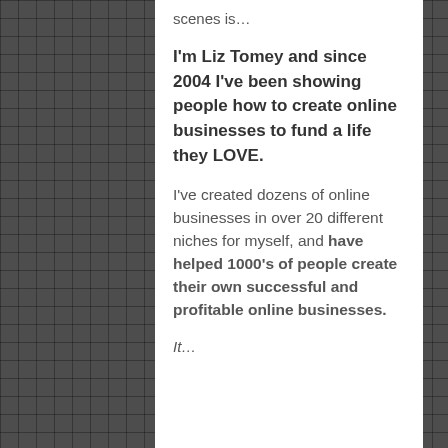scenes is…
I'm Liz Tomey and since 2004 I've been showing people how to create online businesses to fund a life they LOVE.
I've created dozens of online businesses in over 20 different niches for myself, and have helped 1000's of people create their own successful and profitable online businesses.
It…